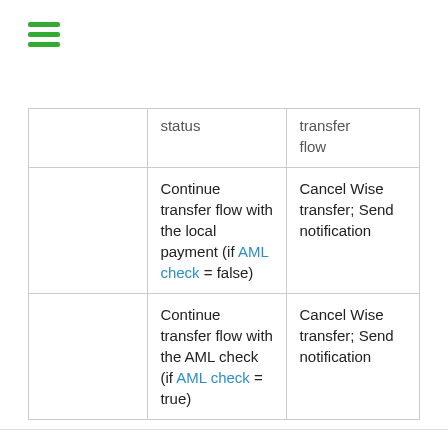[Figure (other): Hamburger menu icon with three green horizontal bars]
|  | status | transfer flow |
| --- | --- | --- |
|  | Continue transfer flow with the local payment (if AML check = false) | Cancel Wise transfer; Send notification |
|  | Continue transfer flow with the AML check (if AML check = true) | Cancel Wise transfer; Send notification |